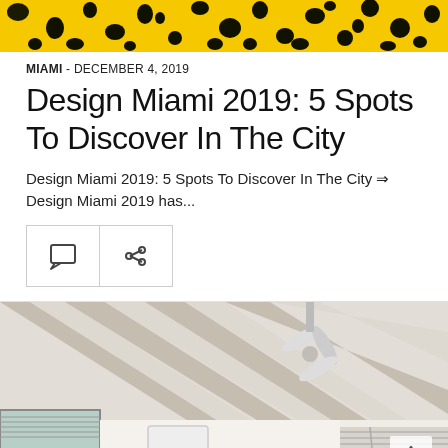[Figure (photo): Close-up of yellow and black spotted pattern, possibly an artwork or fabric]
MIAMI - DECEMBER 4, 2019
Design Miami 2019: 5 Spots To Discover In The City
Design Miami 2019: 5 Spots To Discover In The City ⇒ Design Miami 2019 has...
[Figure (illustration): Comment icon button and share icon button]
[Figure (photo): Interior room with wood beam ceiling and ceiling fan, windows with blinds visible]